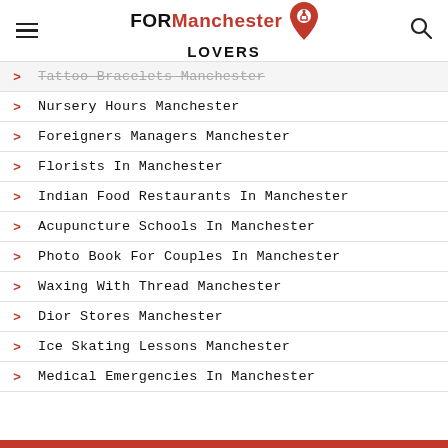FOR Manchester LOVERS
Tattoo Bracelets Manchester
Nursery Hours Manchester
Foreigners Managers Manchester
Florists In Manchester
Indian Food Restaurants In Manchester
Acupuncture Schools In Manchester
Photo Book For Couples In Manchester
Waxing With Thread Manchester
Dior Stores Manchester
Ice Skating Lessons Manchester
Medical Emergencies In Manchester